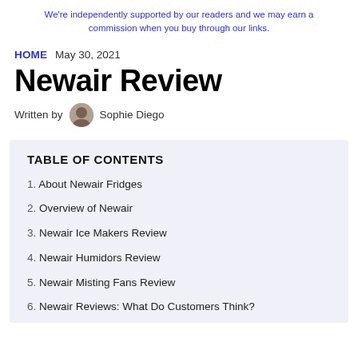We're independently supported by our readers and we may earn a commission when you buy through our links.
HOME   May 30, 2021
Newair Review
Written by  Sophie Diego
TABLE OF CONTENTS
1. About Newair Fridges
2. Overview of Newair
3. Newair Ice Makers Review
4. Newair Humidors Review
5. Newair Misting Fans Review
6. Newair Reviews: What Do Customers Think?